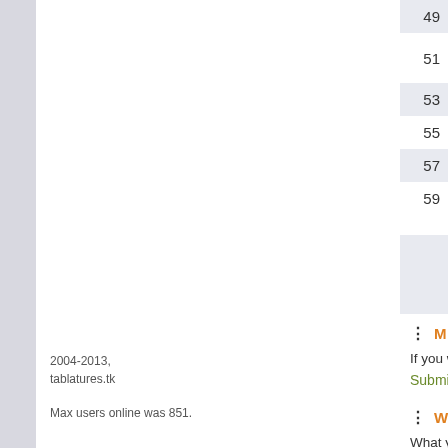49 Gerge 1028
51 Gerudo remix - Various Games 1183
53 Get Up Kids 1218
55 Ghalbouni, Joe 3867
57 Ghomeyshi, Siavash 1096
59 Giacomo, Puccini 1620
Pages 1 2 3 4 Next >>
MISSING AN ARTIST?
If you want to submit tablatures for artist that is not in our database, visit: Submit new artist >
WHAT CAN U GET HERE?
What you can find here are really high quality tablatures. You need a special program to view those files. But, you can play those files as sheet music. What's more, not necessarily for your guitar, but for various instruments. Do not afraid of the notation, you also get the conventional notes, so it is also suitable for a traditional musician.
2004-2013, tablatures.tk
Max users online was 851.